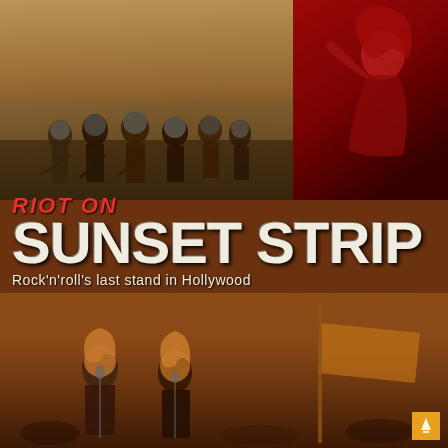[Figure (photo): Left panel: black and white sepia-toned photo of police officers in riot gear marching on Sunset Strip. Right panel: red-tinted photo of a person in dramatic pose.]
RIOT ON SUNSET STRIP
Rock'n'roll's last stand in Hollywood
THE BYROS, THE DOORS, THE BEACH BOYS LOVE, FRANK ZAPPA, BUFFALO SPRINGFIELD THE MAMAS & THE PAPAS THE TURTLES AND MORE...
[Figure (photo): Bottom panel: sepia/amber toned concert photo of performers on stage with microphones and musical instruments.]